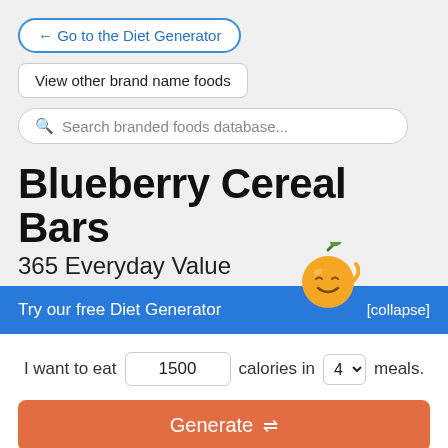← Go to the Diet Generator
View other brand name foods
Search branded foods database...
Blueberry Cereal Bars
365 Everyday Value
Try our free Diet Generator
[collapse]
I want to eat 1500 calories in 4 meals.
Generate